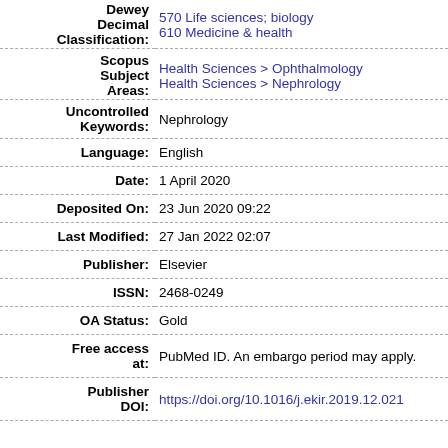| Field | Value |
| --- | --- |
| Dewey Decimal Classification: | 570 Life sciences; biology
610 Medicine & health |
| Scopus Subject Areas: | Health Sciences > Ophthalmology
Health Sciences > Nephrology |
| Uncontrolled Keywords: | Nephrology |
| Language: | English |
| Date: | 1 April 2020 |
| Deposited On: | 23 Jun 2020 09:22 |
| Last Modified: | 27 Jan 2022 02:07 |
| Publisher: | Elsevier |
| ISSN: | 2468-0249 |
| OA Status: | Gold |
| Free access at: | PubMed ID. An embargo period may apply. |
| Publisher DOI: | https://doi.org/10.1016/j.ekir.2019.12.021 |